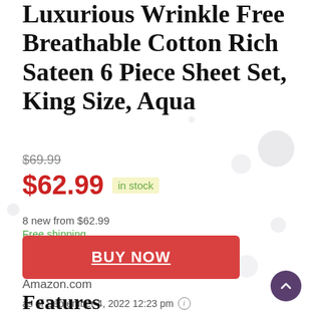Luxurious Wrinkle Free Breathable Cotton Rich Sateen 6 Piece Sheet Set, King Size, Aqua
$69.99
$62.99 in stock
8 new from $62.99
Free shipping
BUY NOW
Amazon.com
as of September 4, 2022 12:23 pm
Features